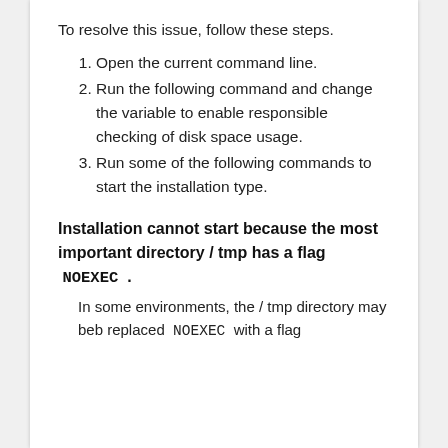To resolve this issue, follow these steps.
1. Open the current command line.
2. Run the following command and change the variable to enable responsible checking of disk space usage.
3. Run some of the following commands to start the installation type.
Installation cannot start because the most important directory / tmp has a flag  NOEXEC  .
In some environments, the / tmp directory may beb replaced  NOEXEC  with a flag